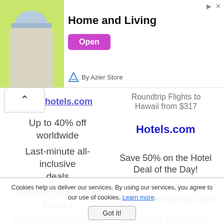[Figure (other): Advertisement banner for Home and Living by Azier Store with a woman in a hat, green background, and an Open button]
tccerhotels.com
Roundtrip Flights to Hawaii from $317
Up to 40% off worldwide
Hotels.com
Last-minute all-inclusive deals
Save 50% on the Hotel Deal of the Day!
Atlantis, Paradise Island
HotelsCombined.com
Free Atlantis Activities
Quarantine Free Travel
Cookies help us deliver our services. By using our services, you agree to our use of cookies. Learn more. Got it!